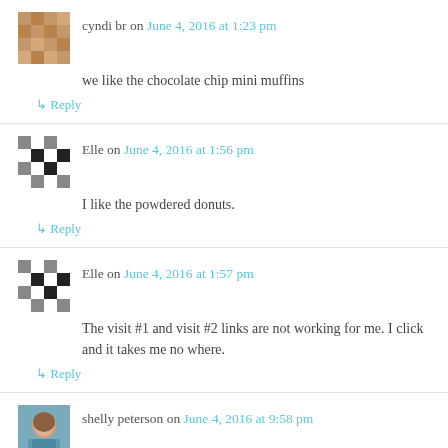cyndi br on June 4, 2016 at 1:23 pm
we like the chocolate chip mini muffins
Reply
Elle on June 4, 2016 at 1:56 pm
I like the powdered donuts.
Reply
Elle on June 4, 2016 at 1:57 pm
The visit #1 and visit #2 links are not working for me. I click and it takes me no where.
Reply
shelly peterson on June 4, 2016 at 9:58 pm
My favorite is the chocolate frosted donuts.